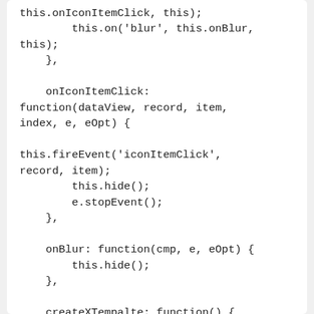this.onIconItemClick, this);
            this.on('blur', this.onBlur,
this);
        },

        onIconItemClick:
function(dataView, record, item,
index, e, eOpt) {

this.fireEvent('iconItemClick',
record, item);
            this.hide();
            e.stopEvent();
        },

        onBlur: function(cmp, e, eOpt) {
            this.hide();
        },

        createXTempalte: function() {
            var me = this;
            var xTemplate = new
Ext.XTemplate(
                    '<table>',
                    '<tpl for=".">',